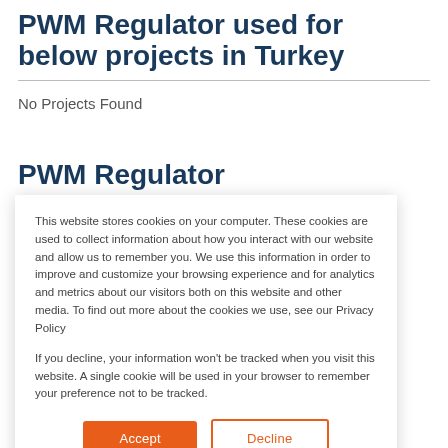PWM Regulator used for below projects in Turkey
No Projects Found
PWM Regulator
This website stores cookies on your computer. These cookies are used to collect information about how you interact with our website and allow us to remember you. We use this information in order to improve and customize your browsing experience and for analytics and metrics about our visitors both on this website and other media. To find out more about the cookies we use, see our Privacy Policy
If you decline, your information won't be tracked when you visit this website. A single cookie will be used in your browser to remember your preference not to be tracked.